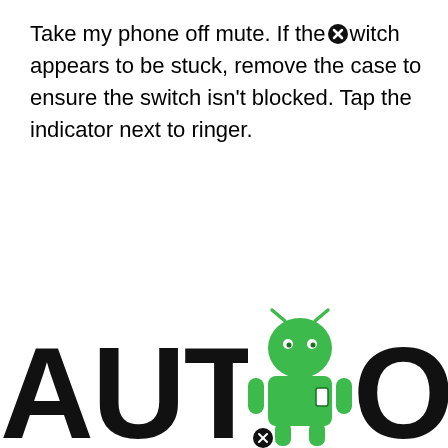Take my phone off mute. If the switch appears to be stuck, remove the case to ensure the switch isn't blocked. Tap the indicator next to ringer.
[Figure (logo): Android Authority logo: large bold black text 'AUTHORITY' with a green Android robot mascot replacing the letter 'O', with small circular X/close icons overlaid]